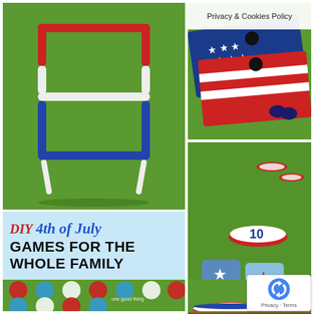Privacy & Cookies Policy
[Figure (photo): DIY ladder toss game with PVC pipe frame painted red, white, and blue on green grass background]
[Figure (photo): Patriotic cornhole boards painted in American flag design with red and blue bean bags on grass]
[Figure (photo): Disc toss game with numbered red plates as targets on green grass, with decorative pillows with star patterns]
DIY 4th of July GAMES FOR THE WHOLE FAMILY
[Figure (photo): Twister game painted on grass with red, white, and blue polka dots, logo visible in corner]
[Figure (photo): Red, white and blue painted frisbees/flying discs on grass]
[Figure (other): reCAPTCHA logo with Privacy and Terms links]